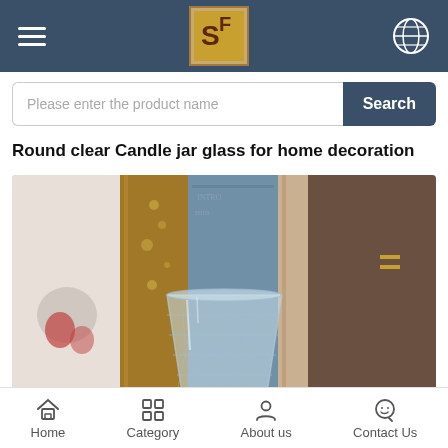SF logo with hamburger menu and globe icon
Please enter the product name
Round clear Candle jar glass for home decoration
[Figure (photo): A clear glass candle jar with diamond-cut pattern, photographed against colorful vintage book spines background.]
Home  Category  About us  Contact Us